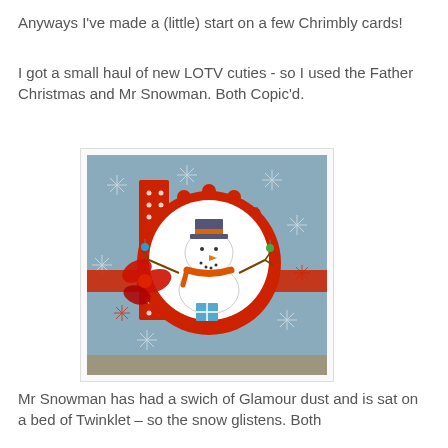Anyways I've made a (little) start on a few Chrimbly cards!
I got a small haul of new LOTV cuties - so I used the Father Christmas and Mr Snowman. Both Copic'd.
[Figure (photo): A handmade Christmas card featuring a snowman stamp image coloured with Copics, set on a blue snowflake patterned background with red scalloped circle mat, red ribbon and bow, and a red polka dot panel.]
Mr Snowman has had a swich of Glamour dust and is sat on a bed of Twinklet – so the snow glistens. Both